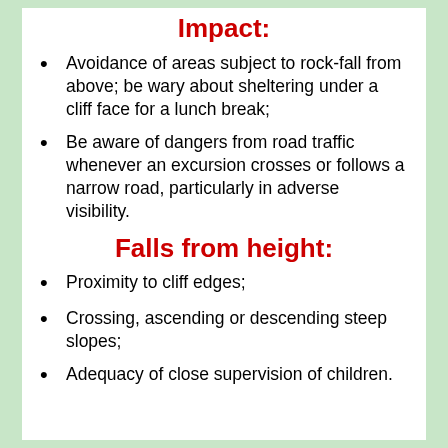Impact:
Avoidance of areas subject to rock-fall from above; be wary about sheltering under a cliff face for a lunch break;
Be aware of dangers from road traffic whenever an excursion crosses or follows a narrow road, particularly in adverse visibility.
Falls from height:
Proximity to cliff edges;
Crossing, ascending or descending steep slopes;
Adequacy of close supervision of children.